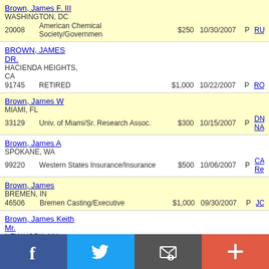| Name/Location | Employer | Amount | Date | Type | Code |
| --- | --- | --- | --- | --- | --- |
| Brown, James F. III
WASHINGTON, DC
20008 | American Chemical Society/Governmen | $250 | 10/30/2007 | P | RU... |
| BROWN, JAMES DR.
HACIENDA HEIGHTS, CA
91745 | RETIRED | $1,000 | 10/22/2007 | P | RO... |
| Brown, James W
MIAMI, FL
33129 | Univ. of Miami/Sr. Research Assoc. | $300 | 10/15/2007 | P | DM... NA... |
| Brown, James A
SPOKANE, WA
99220 | Western States Insurance/Insurance | $500 | 10/06/2007 | P | CA... Re... |
| Brown, James
BREMEN, IN
46506 | Bremen Casting/Executive | $1,000 | 09/30/2007 | P | JC... |
| Brown, James Keith Mr.
NEW YORK, NY
10023 | Och Ziff Capital Management/Partner | $2,300 | 09/30/2007 | P | CH... |
| BROWN, JAMES MR.
SAINT GEORGE, UT
84700 |  | $500 | 09/30/2007 | P | RO... |
Social share bar: Facebook, Twitter, Email, Plus